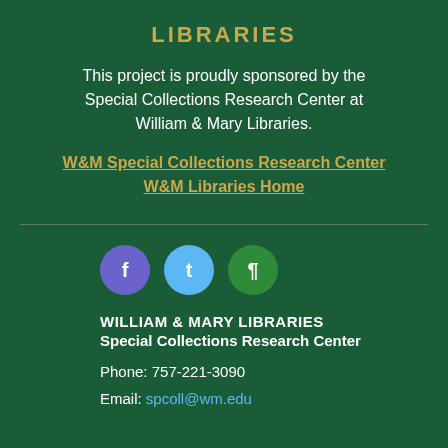LIBRARIES
This project is proudly sponsored by the Special Collections Research Center at William & Mary Libraries.
W&M Special Collections Research Center
W&M Libraries Home
[Figure (infographic): Three social media icon circles: purple Facebook icon, light blue Twitter icon, green paragraph/blog icon]
WILLIAM & MARY LIBRARIES
Special Collections Research Center
Phone: 757-221-3090
Email: spcoll@wm.edu